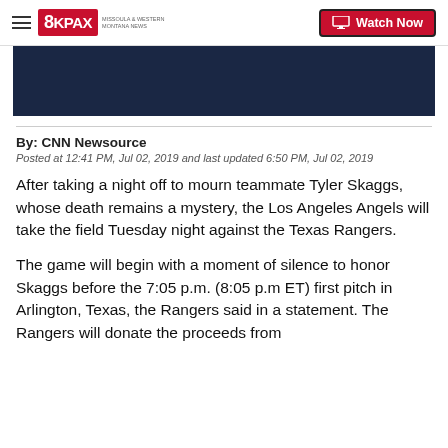8KPAX | Watch Now
[Figure (photo): Dark navy blue video thumbnail placeholder]
By: CNN Newsource
Posted at 12:41 PM, Jul 02, 2019 and last updated 6:50 PM, Jul 02, 2019
After taking a night off to mourn teammate Tyler Skaggs, whose death remains a mystery, the Los Angeles Angels will take the field Tuesday night against the Texas Rangers.
The game will begin with a moment of silence to honor Skaggs before the 7:05 p.m. (8:05 p.m ET) first pitch in Arlington, Texas, the Rangers said in a statement. The Rangers will donate the proceeds from